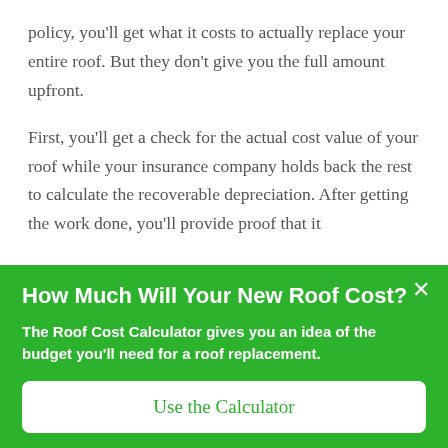policy, you'll get what it costs to actually replace your entire roof. But they don't give you the full amount upfront.
First, you'll get a check for the actual cost value of your roof while your insurance company holds back the rest to calculate the recoverable depreciation. After getting the work done, you'll provide proof that it
How Much Will Your New Roof Cost?
The Roof Cost Calculator gives you an idea of the budget you'll need for a roof replacement.
Use the Calculator